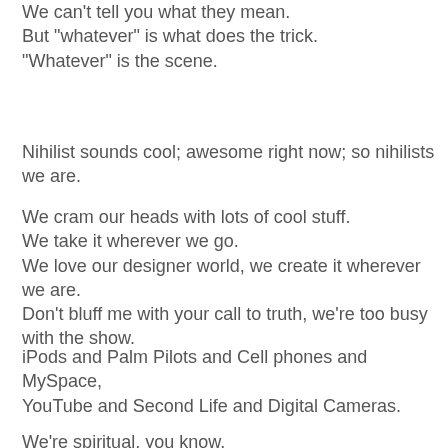We can't tell you what they mean.
But "whatever" is what does the trick.
"Whatever" is the scene.
Nihilist sounds cool; awesome right now; so nihilists we are.
We cram our heads with lots of cool stuff.
We take it wherever we go.
We love our designer world, we create it wherever we are.
Don't bluff me with your call to truth, we're too busy with the show.
iPods and Palm Pilots and Cell phones and MySpace,
YouTube and Second Life and Digital Cameras.
We're spiritual, you know.
We're real, it's true.
We've picked out our iTunes.
They make us the rule.
iPods and PalmPilots and Cell phones and MySpace,
YouTube and Second Life and Digital Cameras.